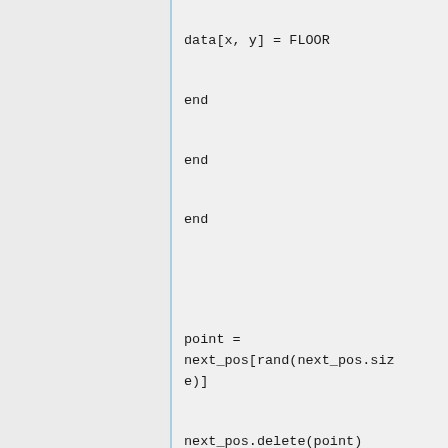data[x, y] = FLOOR

end

end

end


point =
next_pos[rand(next_pos.size)]

next_pos.delete(point)

now_x = point.x

now_y = point.y

end

end

# returns the current data